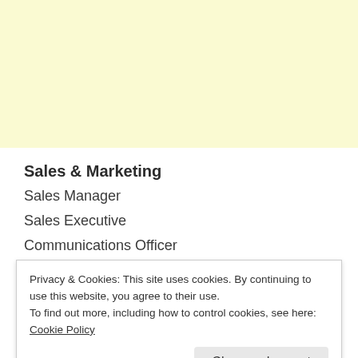[Figure (other): Light yellow banner/advertisement area at the top of the page]
Sales & Marketing
Sales Manager
Sales Executive
Communications Officer
Privacy & Cookies: This site uses cookies. By continuing to use this website, you agree to their use.
To find out more, including how to control cookies, see here: Cookie Policy
F&B Supervisor